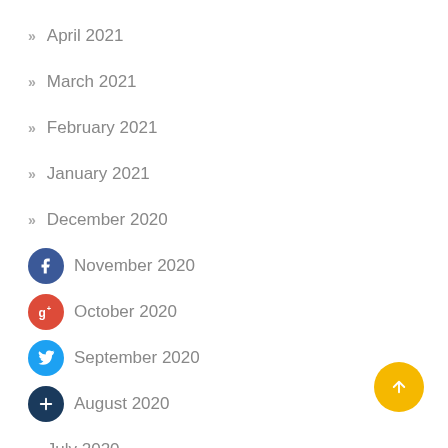April 2021
March 2021
February 2021
January 2021
December 2020
November 2020
October 2020
September 2020
August 2020
July 2020
[Figure (illustration): Yellow circular scroll-to-top button with upward arrow]